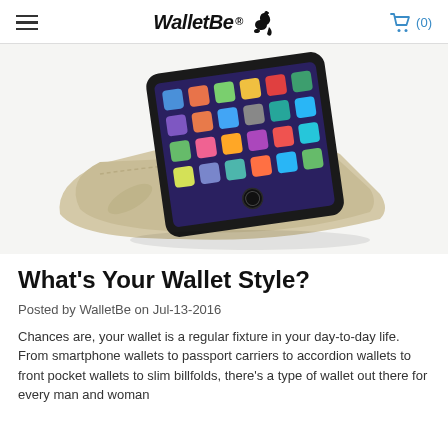WalletBe (0)
[Figure (photo): A smartphone (iPhone) displayed in an open beige/tan leather wallet case, standing upright showing the home screen with app icons, photographed on a white background.]
What's Your Wallet Style?
Posted by WalletBe on Jul-13-2016
Chances are, your wallet is a regular fixture in your day-to-day life. From smartphone wallets to passport carriers to accordion wallets to front pocket wallets to slim billfolds, there's a type of wallet out there for every man and woman